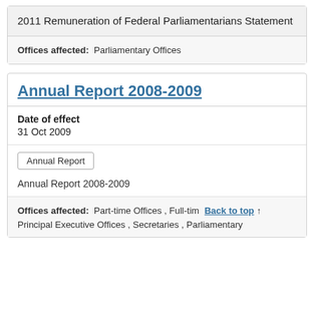2011 Remuneration of Federal Parliamentarians Statement
Offices affected: Parliamentary Offices
Annual Report 2008-2009
Date of effect
31 Oct 2009
Annual Report
Annual Report 2008-2009
Offices affected: Part-time Offices , Full-time  Back to top ↑ Principal Executive Offices , Secretaries , Parliamentary